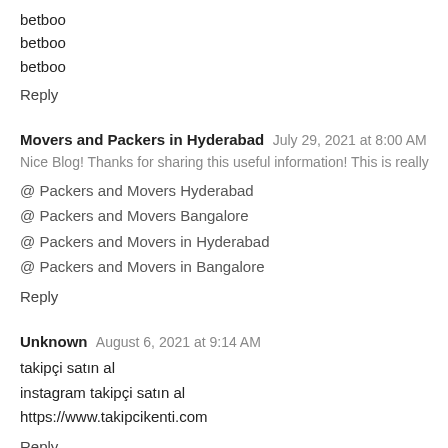betboo
betboo
betboo
Reply
Movers and Packers in Hyderabad  July 29, 2021 at 8:00 AM
Nice Blog! Thanks for sharing this useful information! This is really
@ Packers and Movers Hyderabad
@ Packers and Movers Bangalore
@ Packers and Movers in Hyderabad
@ Packers and Movers in Bangalore
Reply
Unknown  August 6, 2021 at 9:14 AM
takipçi satın al
instagram takipçi satın al
https://www.takipcikenti.com
Reply
taekwondo classes  November 23, 2021 at 9:14 PM